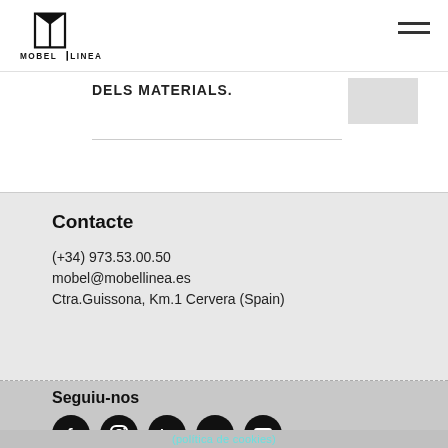Mobel Linea logo and navigation
DELS MATERIALS.
Contacte
(+34) 973.53.00.50
mobel@mobellinea.es
Ctra.Guissona, Km.1 Cervera (Spain)
Seguiu-nos
[Figure (infographic): Five social media icons: Facebook, Instagram, LinkedIn, Vimeo, YouTube — black circular icons]
(política de cookies)